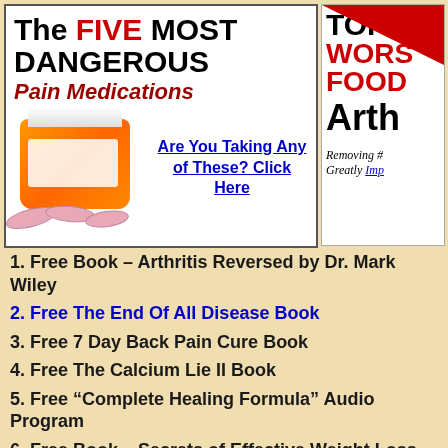[Figure (illustration): Advertisement for 'The Five Most Dangerous Pain Medications' showing an orange pill bottle with pink pills spilled out, text in black and red, and a blue underlined call-to-action 'Are You Taking Any of These? Click Here']
[Figure (illustration): Partially visible advertisement for 'Top Worst Foods' related to Arthritis with red triangle corner decoration and italic text 'Removing # Greatly Imp...']
1. Free Book – Arthritis Reversed by Dr. Mark Wiley
2. Free The End Of All Disease Book
3. Free 7 Day Back Pain Cure Book
4. Free The Calcium Lie II Book
5. Free “Complete Healing Formula” Audio Program
6. Free Book – Secrets of Effective Weight Loss